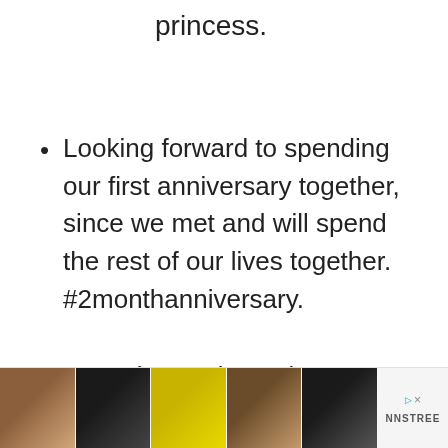princess.
Looking forward to spending our first anniversary together, since we met and will spend the rest of our lives together. #2monthanniversary.
Our princess is turning 2 months
[Figure (photo): Advertisement banner showing five images of shoes/footwear with a close button and NNSTREE brand label on the right]